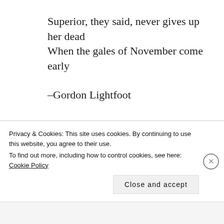Superior, they said, never gives up her dead
When the gales of November come early
–Gordon Lightfoot
“The Wreck of the Edmund Fitzgerald”
This week was less like the last, and
Privacy & Cookies: This site uses cookies. By continuing to use this website, you agree to their use.
To find out more, including how to control cookies, see here: Cookie Policy
Close and accept